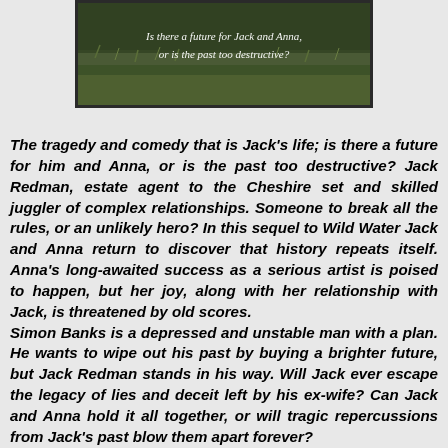[Figure (photo): Book cover image showing a grassy outdoor scene with text overlay: 'Is there a future for Jack and Anna, or is the past too destructive?']
The tragedy and comedy that is Jack's life; is there a future for him and Anna, or is the past too destructive? Jack Redman, estate agent to the Cheshire set and skilled juggler of complex relationships. Someone to break all the rules, or an unlikely hero? In this sequel to Wild Water Jack and Anna return to discover that history repeats itself. Anna's long-awaited success as a serious artist is poised to happen, but her joy, along with her relationship with Jack, is threatened by old scores.
Simon Banks is a depressed and unstable man with a plan. He wants to wipe out his past by buying a brighter future, but Jack Redman stands in his way. Will Jack ever escape the legacy of lies and deceit left by his ex-wife? Can Jack and Anna hold it all together, or will tragic repercussions from Jack's past blow them apart forever?